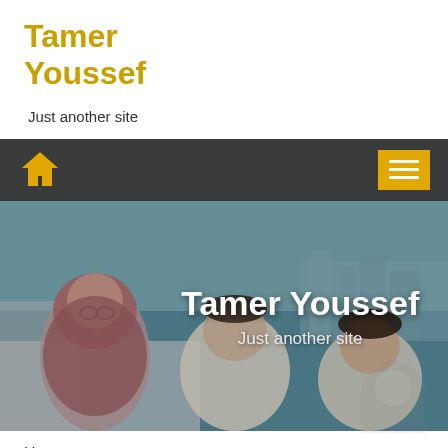Tamer Youssef
Just another site
[Figure (screenshot): Navigation bar with yellow home icon on left and yellow hamburger menu button on right, on dark gray background]
[Figure (photo): Hero banner showing a woman in hijab and two boys near a body of water, overlaid with white text 'Tamer Youssef' and 'Just another site']
Home